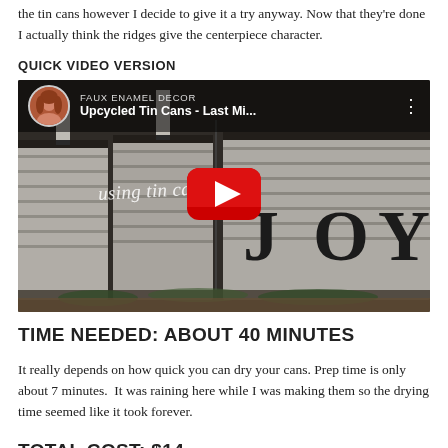the tin cans however I decide to give it a try anyway. Now that they're done I actually think the ridges give the centerpiece character.
QUICK VIDEO VERSION
[Figure (screenshot): YouTube video thumbnail showing upcycled tin cans decorated with JOY letters, with a red play button in the center. Channel name FAUX ENAMEL DECOR, video title: Upcycled Tin Cans - Last Mi...]
TIME NEEDED:  ABOUT 40 MINUTES
It really depends on how quick you can dry your cans. Prep time is only about 7 minutes.  It was raining here while I was making them so the drying time seemed like it took forever.
TOTAL COST: $14